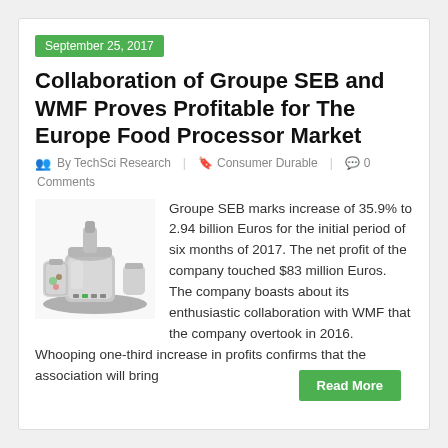September 25, 2017
Collaboration of Groupe SEB and WMF Proves Profitable for The Europe Food Processor Market
By TechSci Research  Consumer Durable  0 Comments
[Figure (photo): Food processor kitchen appliance, silver/stainless steel with multiple bowls and attachments]
Groupe SEB marks increase of 35.9% to 2.94 billion Euros for the initial period of six months of 2017. The net profit of the company touched $83 million Euros. The company boasts about its enthusiastic collaboration with WMF that the company overtook in 2016. Whooping one-third increase in profits confirms that the association will bring
Read More